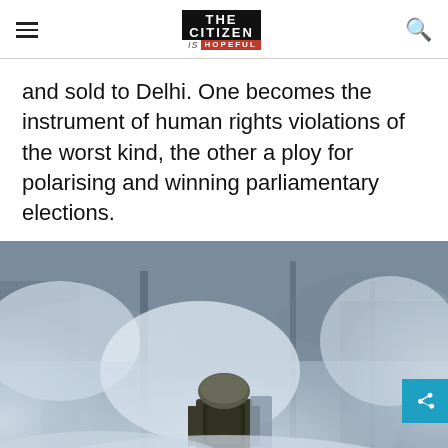THE CITIZEN IS HOPEFUL
and sold to Delhi. One becomes the instrument of human rights violations of the worst kind, the other a ploy for polarising and winning parliamentary elections.
[Figure (photo): A soldier/security personnel standing amid heavy smoke and tear gas in a street scene, viewed from behind, wearing riot gear and a helmet, with buildings visible in the hazy background.]